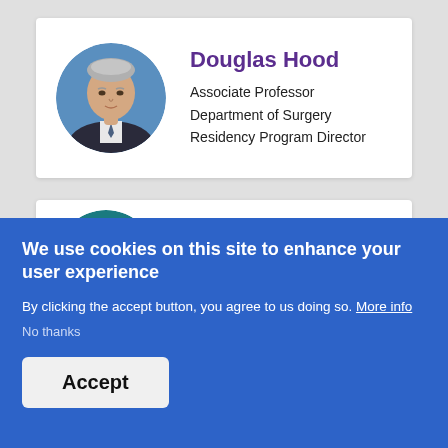[Figure (photo): Circular headshot of Douglas Hood, a gray-haired man in a suit and tie, against a blue background]
Douglas Hood
Associate Professor
Department of Surgery
Residency Program Director
[Figure (photo): Circular headshot of Carlos Illingworth Garcia, a smiling man with brown hair, against a teal background]
Carlos Illingworth Garcia
We use cookies on this site to enhance your user experience
By clicking the accept button, you agree to us doing so. More info
No thanks
Accept